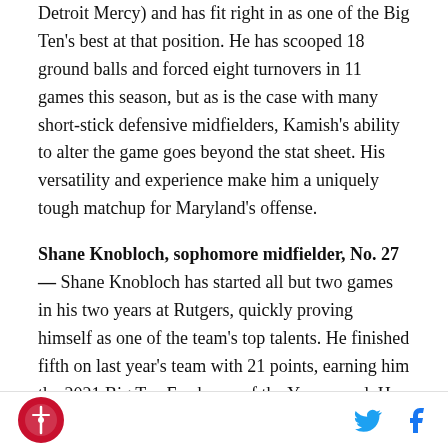Detroit Mercy) and has fit right in as one of the Big Ten's best at that position. He has scooped 18 ground balls and forced eight turnovers in 11 games this season, but as is the case with many short-stick defensive midfielders, Kamish's ability to alter the game goes beyond the stat sheet. His versatility and experience make him a uniquely tough matchup for Maryland's offense.
Shane Knobloch, sophomore midfielder, No. 27 — Shane Knobloch has started all but two games in his two years at Rutgers, quickly proving himself as one of the team's top talents. He finished fifth on last year's team with 21 points, earning him the 2021 Big Ten Freshman of the Year award. He topped that mark in